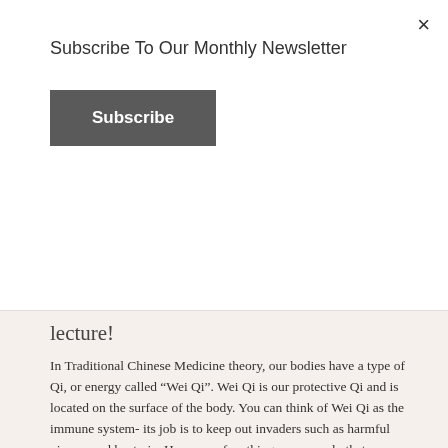Subscribe To Our Monthly Newsletter
Subscribe
lecture!
In Traditional Chinese Medicine theory, our bodies have a type of Qi, or energy called “Wei Qi”. Wei Qi is our protective Qi and is located on the surface of the body. You can think of Wei Qi as the immune system- its job is to keep out invaders such as harmful viruses and bacteria. Here are a few things you can do that you may not have realized can improve your immune system...
Read more